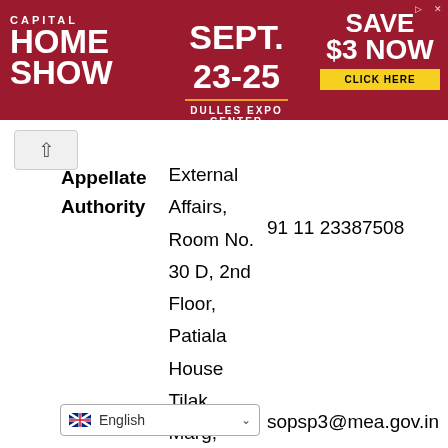[Figure (infographic): Advertisement banner for Capital Home Show, Sept. 23-25, Dulles Expo Center. Save $3 Now. Click Here button.]
| Appellate Authority | External Affairs, Room No. 30 D, 2nd Floor, Patiala House Tilak Marg, New Delhi – 110001 | 91 11 23387508 | sopsp3@mea.gov.in |
sopsp3@mea.gov.in
English